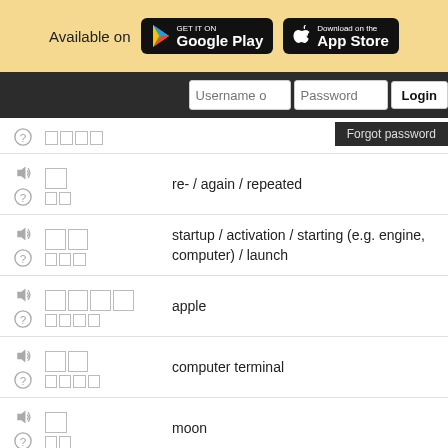[Figure (screenshot): Top banner with 'Available on Google Play and App Store' badges on yellow background]
[Figure (screenshot): Navigation bar with Username, Password fields and Login button; Forgot password dropdown]
□□□□  [question icon] □□
□  [sound] re- / again / repeated  [question] □□
□□  startup / activation / starting (e.g. engine, computer) / launch  □□□
□□□□  apple  □□□□
□□  computer terminal  □□□□
□  moon  □□
□□  problem / question  □□□□